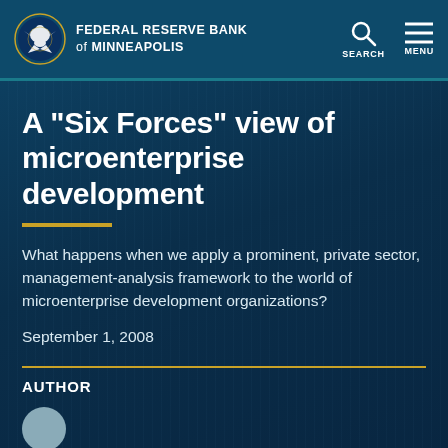FEDERAL RESERVE BANK OF MINNEAPOLIS
A "Six Forces" view of microenterprise development
What happens when we apply a prominent, private sector, management-analysis framework to the world of microenterprise development organizations?
September 1, 2008
AUTHOR